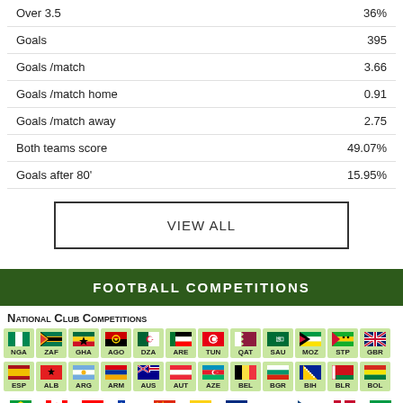| Stat | Value |
| --- | --- |
| Over 3.5 | 36% |
| Goals | 395 |
| Goals /match | 3.66 |
| Goals /match home | 0.91 |
| Goals /match away | 2.75 |
| Both teams score | 49.07% |
| Goals after 80' | 15.95% |
VIEW ALL
FOOTBALL COMPETITIONS
National Club Competitions
[Figure (infographic): Two rows of country flag icons with country codes: NGA, ZAF, GHA, AGO, DZA, ARE, TUN, QAT, SAU, MOZ, STP, GBR / ESP, ALB, ARG, ARM, AUS, AUT, AZE, BEL, BGR, BIH, BLR, BOL]
[Figure (infographic): Partial row of country flag icons at bottom of page]